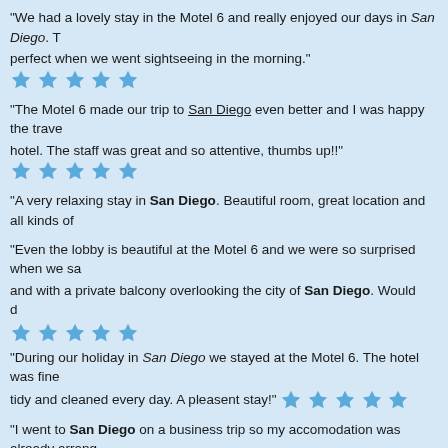"We had a lovely stay in the Motel 6 and really enjoyed our days in San Diego. T... perfect when we went sightseeing in the morning." ★★★★★
"The Motel 6 made our trip to San Diego even better and I was happy the trave... hotel. The staff was great and so attentive, thumbs up!!" ★★★★★
"A very relaxing stay in San Diego. Beautiful room, great location and all kinds of...
"Even the lobby is beautiful at the Motel 6 and we were so surprised when we sa... and with a private balcony overlooking the city of San Diego. Would d... ★★★★★
"During our holiday in San Diego we stayed at the Motel 6. The hotel was fine tidy and cleaned every day. A pleasent stay!" ★★★★★
"I went to San Diego on a business trip so my accomodation was already arrang... good hotel. My room had a nice view and all the comforts I needed." ★★★★
"The view from our room was amazing! I loved staying at the Motel 6 and didn't... hotel." ★★★★★
"I loved the Motel 6 for its central position. From the hotel it was a short walk to... and made everything really easy for us!" ★★★★★
"Beautiful rooms with a large and comfortable bed and a very helpfull sta... ★★★